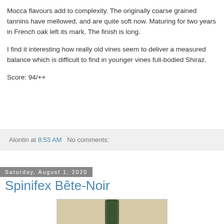Mocca flavours add to complexity. The originally coarse grained tannins have mellowed, and are quite soft now. Maturing for two years in French oak left its mark. The finish is long.
I find it interesting how really old vines seem to deliver a measured balance which is difficult to find in younger vines full-bodied Shiraz.
Score: 94/++
Alontin at 8:53 AM   No comments:
Saturday, August 1, 2020
Spinifex Bête-Noir
[Figure (photo): Photograph of a wine bottle with a dark green bottle body against a light tan/beige background]